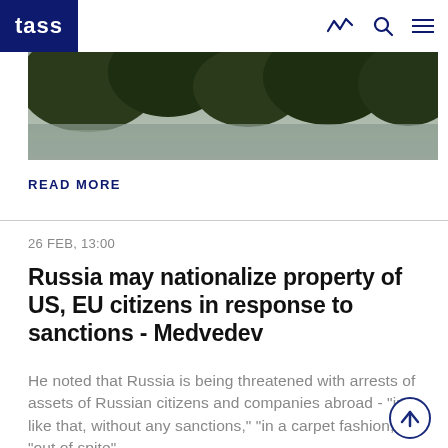TASS
[Figure (photo): Outdoor landscape photo showing trees with dark foliage against a grey water/sky background]
READ MORE
26 FEB, 13:00
Russia may nationalize property of US, EU citizens in response to sanctions - Medvedev
He noted that Russia is being threatened with arrests of assets of Russian citizens and companies abroad - "just like that, without any sanctions," "in a carpet fashion," "out of spite"